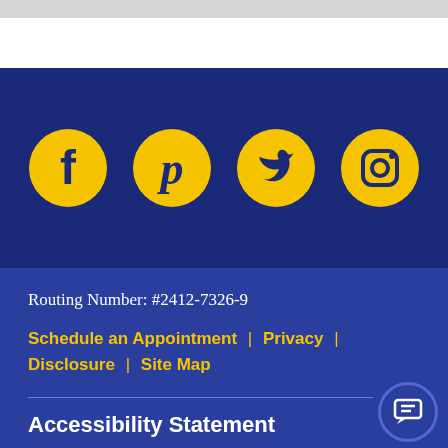[Figure (infographic): Four social media icons (Facebook, Pinterest, Twitter, Instagram) as gold circles with dark navy logos on a dark navy background bar]
Routing Number: #2412-7326-9
Schedule an Appointment | Privacy | Disclosure | Site Map
Accessibility Statement